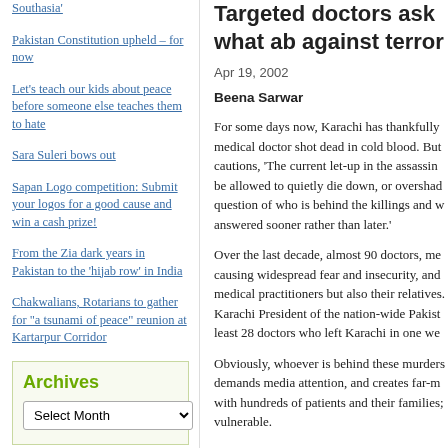Southasia'
Pakistan Constitution upheld – for now
Let's teach our kids about peace before someone else teaches them to hate
Sara Suleri bows out
Sapan Logo competition: Submit your logos for a good cause and win a cash prize!
From the Zia dark years in Pakistan to the 'hijab row' in India
Chakwalians, Rotarians to gather for "a tsunami of peace" reunion at Kartarpur Corridor
Archives
Targeted doctors ask what ab against terror
Apr 19, 2002
Beena Sarwar
For some days now, Karachi has thankfully medical doctor shot dead in cold blood. But cautions, 'The current let-up in the assassin be allowed to quietly die down, or overshad question of who is behind the killings and w answered sooner rather than later.'
Over the last decade, almost 90 doctors, m causing widespread fear and insecurity, and medical practitioners but also their relatives. Karachi President of the nation-wide Pakist least 28 doctors who left Karachi in one we
Obviously, whoever is behind these murders demands media attention, and creates far-m with hundreds of patients and their families; vulnerable.
Assassins turn up at a targeted doctor's clinic as in the case of Dr Rashid Mehdi, 39 on Fe behind a young wife, also a doctor, a little...